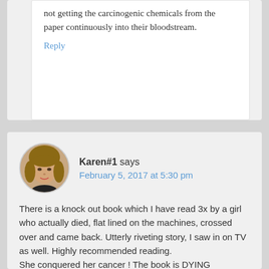not getting the carcinogenic chemicals from the paper continuously into their bloodstream.
Reply
Karen#1 says February 5, 2017 at 5:30 pm
There is a knock out book which I have read 3x by a girl who actually died, flat lined on the machines, crossed over and came back. Utterly riveting story, I saw in on TV as well. Highly recommended reading.
She conquered her cancer ! The book is DYING